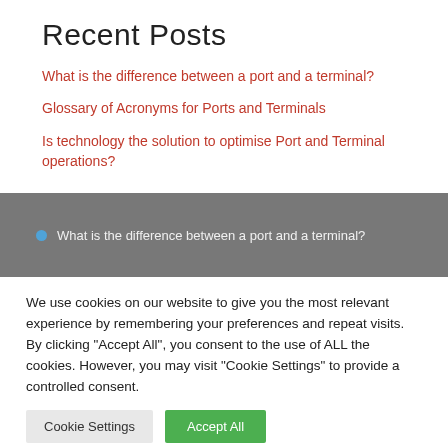Recent Posts
What is the difference between a port and a terminal?
Glossary of Acronyms for Ports and Terminals
Is technology the solution to optimise Port and Terminal operations?
What is the difference between a port and a terminal?
We use cookies on our website to give you the most relevant experience by remembering your preferences and repeat visits. By clicking “Accept All”, you consent to the use of ALL the cookies. However, you may visit "Cookie Settings" to provide a controlled consent.
Cookie Settings | Accept All